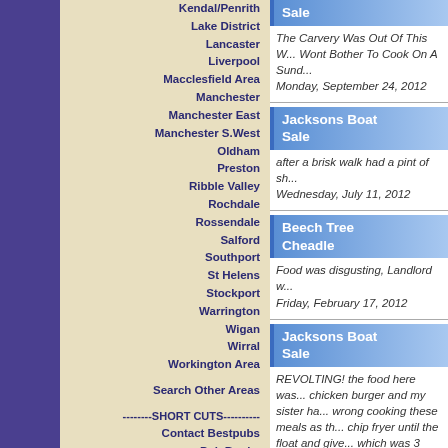Kendal/Penrith
Lake District
Lancaster
Liverpool
Macclesfield Area
Manchester
Manchester East
Manchester S.West
Oldham
Preston
Ribble Valley
Rochdale
Rossendale
Salford
Southport
St Helens
Stockport
Warrington
Wigan
Wirral
Workington Area
Search Other Areas
--------SHORT CUTS----------
Contact Bestpubs
Pub Books
Cookies
Sale
The Carvery Was Out Of This W... Wont Bother To Cook On A Sund... Monday, September 24, 2012
Jacksons Boat Sale
after a brisk walk had a pint of sh... Wednesday, July 11, 2012
Beech Tree Cheadle
Food was disgusting, Landlord w... Friday, February 17, 2012
Jacksons Boat Sale
REVOLTING! the food here was... chicken burger and my sister ha... wrong cooking these meals as th... chip fryer until the float and give... which was 3 over cooked chicke... wasn't really classed as a burge... some, not quite done chips and... thing that looked as though It ha...